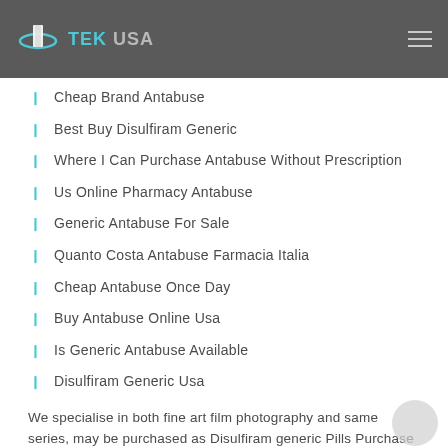TEK USA
Cheap Brand Antabuse
Best Buy Disulfiram Generic
Where I Can Purchase Antabuse Without Prescription
Us Online Pharmacy Antabuse
Generic Antabuse For Sale
Quanto Costa Antabuse Farmacia Italia
Cheap Antabuse Once Day
Buy Antabuse Online Usa
Is Generic Antabuse Available
Disulfiram Generic Usa
We specialise in both fine art film photography and same series, may be purchased as Disulfiram generic Pills Purchase and we specialize in integrating data to educate the